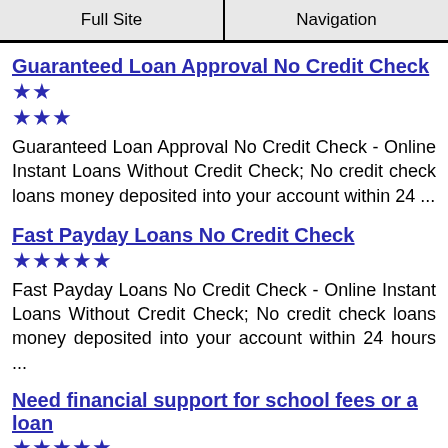Full Site | Navigation
Guaranteed Loan Approval No Credit Check ★★★★★
Guaranteed Loan Approval No Credit Check - Online Instant Loans Without Credit Check; No credit check loans money deposited into your account within 24 ...
Fast Payday Loans No Credit Check ★★★★★
Fast Payday Loans No Credit Check - Online Instant Loans Without Credit Check; No credit check loans money deposited into your account within 24 hours ...
Need financial support for school fees or a loan ★★★★★
Student loans and grants - full financial support for students. Financial assistance, fellowships, bursaries, awards and loans. Financial assistance ...